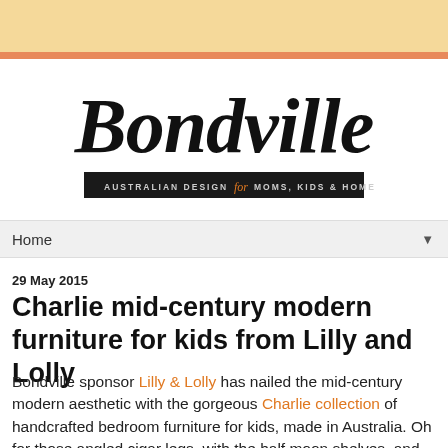[Figure (logo): Bondville logo — handwritten script 'Bondville' in black, with tagline banner 'AUSTRALIAN DESIGN for MOMS, KIDS & HOME']
Home ▼
29 May 2015
Charlie mid-century modern furniture for kids from Lilly and Lolly
Bondville sponsor Lilly & Lolly has nailed the mid-century modern aesthetic with the gorgeous Charlie collection of handcrafted bedroom furniture for kids, made in Australia. Oh for those angled cigar legs, with the half moon shelves, and graphic split button drawer pull features on the matching furniture. Charlie is seriously stylish.